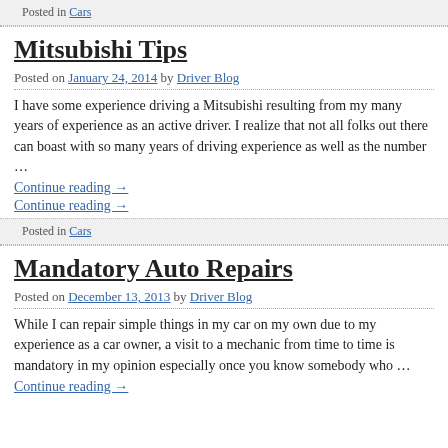Posted in Cars
Mitsubishi Tips
Posted on January 24, 2014 by Driver Blog
I have some experience driving a Mitsubishi resulting from my many years of experience as an active driver. I realize that not all folks out there can boast with so many years of driving experience as well as the number …
Continue reading →
Continue reading →
Posted in Cars
Mandatory Auto Repairs
Posted on December 13, 2013 by Driver Blog
While I can repair simple things in my car on my own due to my experience as a car owner, a visit to a mechanic from time to time is mandatory in my opinion especially once you know somebody who …
Continue reading →